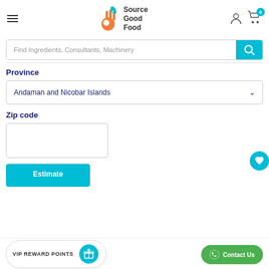[Figure (logo): Source Good Food logo with orange hand/OK gesture icon and teal leaf]
Find Ingredients, Consultants, Machinery
Province
Andaman and Nicobar Islands
Zip code
Estimate
VIP REWARD POINTS
Contact Us